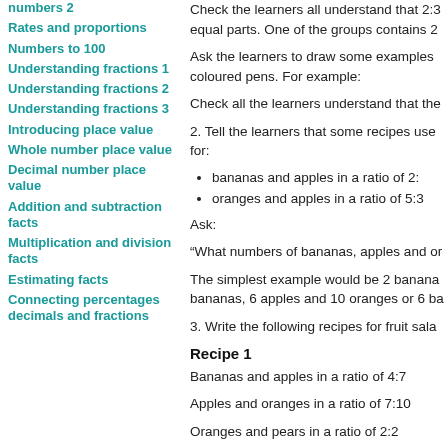numbers 2
Rates and proportions
Numbers to 100
Understanding fractions 1
Understanding fractions 2
Understanding fractions 3
Introducing place value
Whole number place value
Decimal number place value
Addition and subtraction facts
Multiplication and division facts
Estimating facts
Connecting percentages decimals and fractions
Check the learners all understand that 2:3 equal parts. One of the groups contains 2
Ask the learners to draw some examples coloured pens. For example:
Check all the learners understand that the
2. Tell the learners that some recipes use for:
bananas and apples in a ratio of 2:
oranges and apples in a ratio of 5:3
Ask:
“What numbers of bananas, apples and or
The simplest example would be 2 banana bananas, 6 apples and 10 oranges or 6 ba
3. Write the following recipes for fruit sala
Recipe 1
Bananas and apples in a ratio of 4:7
Apples and oranges in a ratio of 7:10
Oranges and pears in a ratio of 2:2